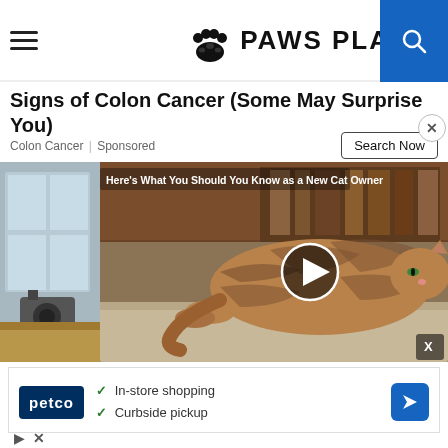PAWS PLANET
Signs of Colon Cancer (Some May Surprise You)
Colon Cancer | Sponsored
[Figure (screenshot): Video player showing a cat lying on a table with play button overlay. Caption reads: Here's What You Should You Know as a New Cat Owner]
[Figure (screenshot): Petco advertisement with checkmarks listing In-store shopping and Curbside pickup with a blue navigation icon]